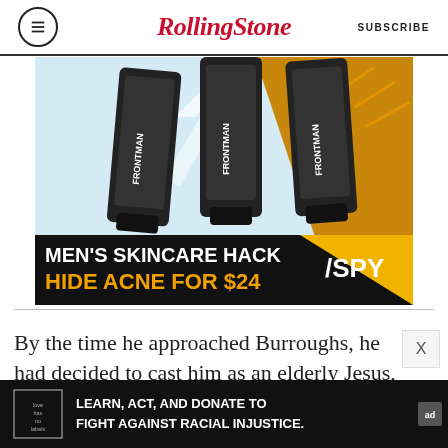RollingStone | SUBSCRIBE
[Figure (photo): Advertisement showing three black FRONTMAN skincare tubes against a light blue and yellow geometric background. Bottom of ad reads MEN'S SKINCARE HACK / HIDE ACNE FOR $24 with SPY logo.]
By the time he approached Burroughs, he had decided to cast him as an elderly Jesus, even
[Figure (photo): Bottom banner ad: LEARN, ACT, AND DONATE TO FIGHT AGAINST RACIAL INJUSTICE. with 'love has no labels' logo and 'ad' marker on black background.]